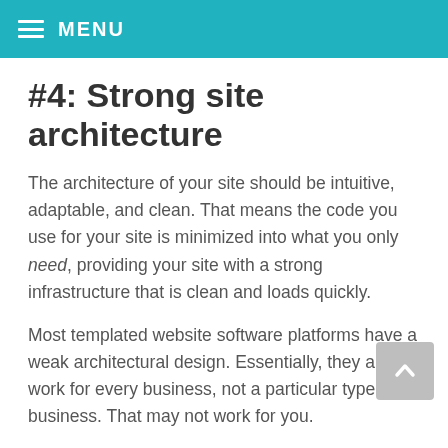MENU
#4: Strong site architecture
The architecture of your site should be intuitive, adaptable, and clean. That means the code you use for your site is minimized into what you only need, providing your site with a strong infrastructure that is clean and loads quickly.
Most templated website software platforms have a weak architectural design. Essentially, they aim to work for every business, not a particular type of business. That may not work for you.
#5: Lots of room for your content